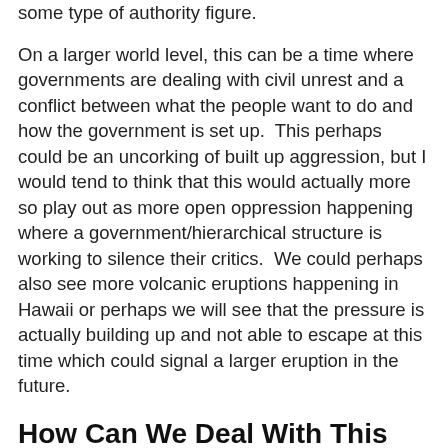some type of authority figure.
On a larger world level, this can be a time where governments are dealing with civil unrest and a conflict between what the people want to do and how the government is set up.  This perhaps could be an uncorking of built up aggression, but I would tend to think that this would actually more so play out as more open oppression happening where a government/hierarchical structure is working to silence their critics.  We could perhaps also see more volcanic eruptions happening in Hawaii or perhaps we will see that the pressure is actually building up and not able to escape at this time which could signal a larger eruption in the future.
How Can We Deal With This Energy?
With everything I mentioned about the workplace and ego struggles, it is important to really check in